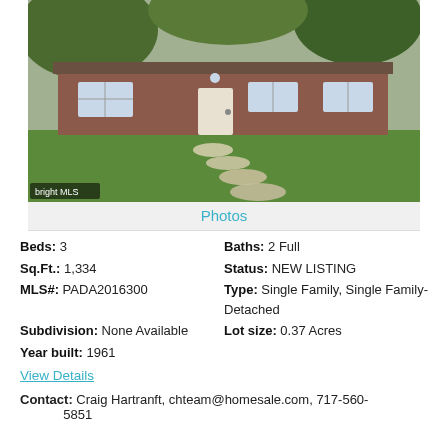[Figure (photo): Exterior photo of a single-story brick ranch house with a green lawn and stepping stone path leading to the front door, trees in background. Bright MLS watermark in bottom-left corner.]
Photos
Beds: 3
Baths: 2 Full
Sq.Ft.: 1,334
Status: NEW LISTING
MLS#: PADA2016300
Type: Single Family, Single Family-Detached
Subdivision: None Available
Lot size: 0.37 Acres
Year built: 1961
View Details
Contact: Craig Hartranft, chteam@homesale.com, 717-560-5851